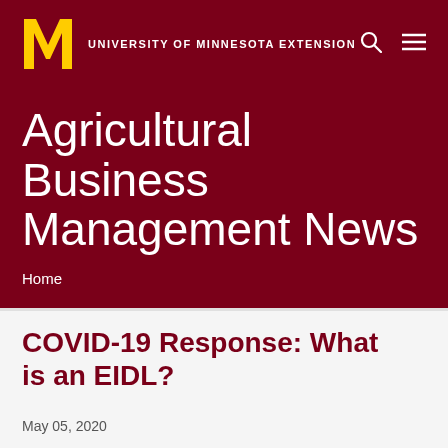University of Minnesota Extension
Agricultural Business Management News
Home
COVID-19 Response: What is an EIDL?
May 05, 2020